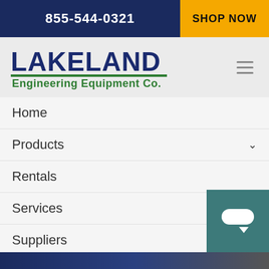855-544-0321   SHOP NOW
[Figure (logo): Lakeland Engineering Equipment Co. logo with blue bold text LAKELAND and green text Engineering Equipment Co.]
Home
Products
Rentals
Services
Suppliers
Industries
About
Contact